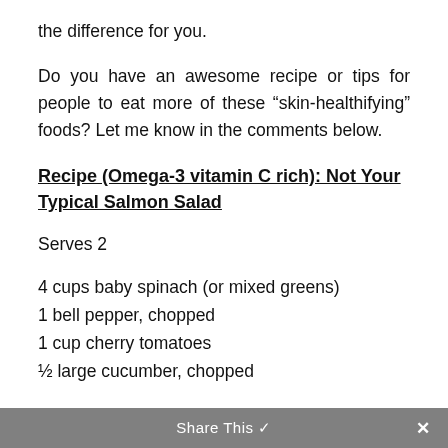the difference for you.
Do you have an awesome recipe or tips for people to eat more of these “skin-healthifying” foods? Let me know in the comments below.
Recipe (Omega-3 vitamin C rich): Not Your Typical Salmon Salad
Serves 2
4 cups baby spinach (or mixed greens)
1 bell pepper, chopped
1 cup cherry tomatoes
½ large cucumber, chopped
Share This